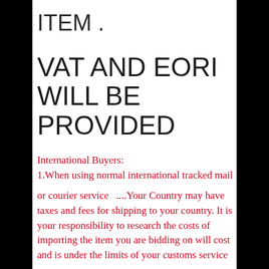ITEM .
VAT AND EORI WILL BE PROVIDED
International Buyers:
1.When using normal international tracked mail
or courier service  ....Your Country may have taxes and fees for shipping to your country. It is your responsibility to research the costs of importing the item you are bidding on will cost and is under the limits of your customs service